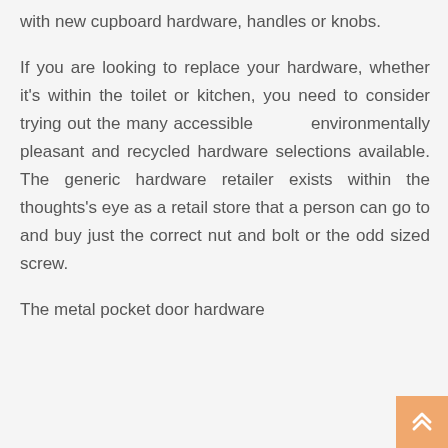with new cupboard hardware, handles or knobs.
If you are looking to replace your hardware, whether it's within the toilet or kitchen, you need to consider trying out the many accessible environmentally pleasant and recycled hardware selections available. The generic hardware retailer exists within the thoughts's eye as a retail store that a person can go to and buy just the correct nut and bolt or the odd sized screw.
The metal pocket door hardware